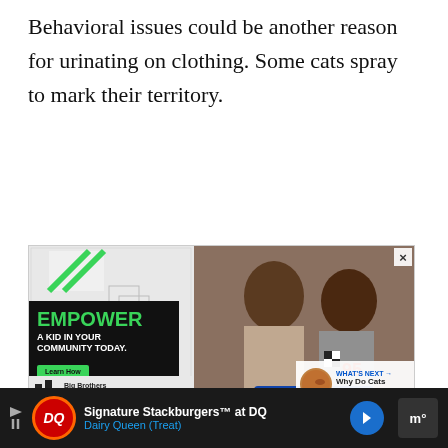Behavioral issues could be another reason for urinating on clothing. Some cats spray to mark their territory.
[Figure (screenshot): Advertisement: Big Brothers Big Sisters of America — 'EMPOWER A KID IN YOUR COMMUNITY TODAY.' with a photo of a man and boy working on a robotics project. Includes a 'Learn How' button and a 'WHAT'S NEXT' overlay showing 'Why Do Cats Bite Ankles -...']
[Figure (screenshot): Bottom advertisement bar: Dairy Queen 'Signature Stackburgers™ at DQ — Dairy Queen (Treat)' with DQ logo and navigation arrow icons on dark background.]